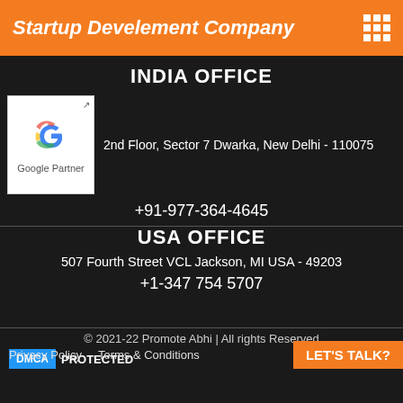Startup Develement Company
INDIA OFFICE
[Figure (logo): Google Partner badge with Google G logo and text 'Google Partner']
2nd Floor, Sector 7 Dwarka, New Delhi - 110075
+91-977-364-4645
USA OFFICE
507 Fourth Street VCL Jackson, MI USA - 49203
+1-347 754 5707
© 2021-22 Promote Abhi | All rights Reserved
DMCA PROTECTED
Privacy Policy   Terms & Conditions   LET'S TALK?